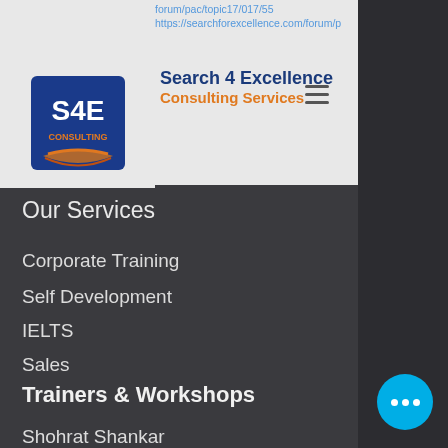[Figure (screenshot): Screenshot of Search 4 Excellence Consulting Services website navigation menu on mobile, showing logo, brand name, hamburger menu icon, URL bar, and navigation links.]
Search 4 Excellence Consulting Services
Our Services
Corporate Training
Self Development
IELTS
Sales
Trainers & Workshops
Shohrat Shankar
Nishchay Motadoo
S.P.I.C.E. Workshops
S.P.I.C.E. Courses
Children & Parenting
Organization Transformation
Contact Us